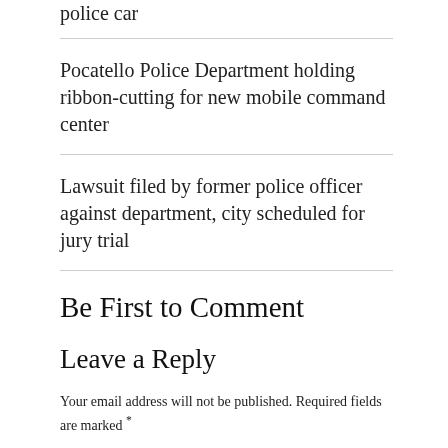police car
Pocatello Police Department holding ribbon-cutting for new mobile command center
Lawsuit filed by former police officer against department, city scheduled for jury trial
Be First to Comment
Leave a Reply
Your email address will not be published. Required fields are marked *
Comment